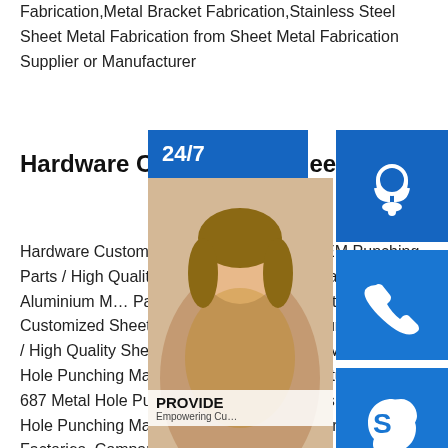Fabrication,Metal Bracket Fabrication,Stainless Steel Sheet Metal Fabrication from Sheet Metal Fabrication Supplier or Manufacturer
Hardware Customized Sheet Metal Fabrication OEM
Hardware Customized Sheet Metal Fabrication OEM Punching Parts / High Quality Sheet Metal Parts, Find Details about Aluminium Metal Parts, Precision Turning Parts from Hardware Customized Sheet Metal Fabrication OEM Punching Parts / High Quality Sheet Metal Punching Parts - HuaYi Precision Metal Metal Hole Punching Machine Suppliers, Manufacturer offers 687 Metal Hole Punching Machine Suppliers, and Metal Hole Punching Machine Manufacturers, Distributors, Factories, Companies. There are 471 OEM, 437 ODM, 123 Self Patent. Find high
[Figure (photo): Customer service representative with headset, overlaid with blue UI widgets showing 24/7 support, headset icon, phone icon, Skype icon, PROVIDE/Empowering Customers text, and an orange 'online live' button]